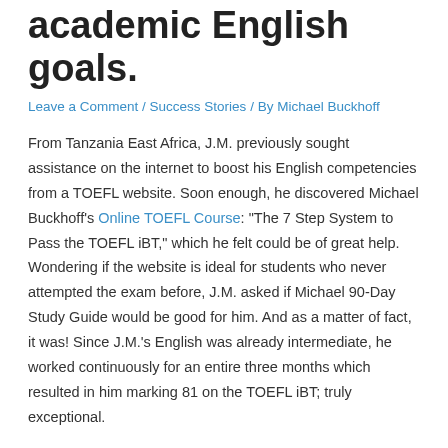academic English goals.
Leave a Comment / Success Stories / By Michael Buckhoff
From Tanzania East Africa, J.M. previously sought assistance on the internet to boost his English competencies from a TOEFL website. Soon enough, he discovered Michael Buckhoff’s Online TOEFL Course: “The 7 Step System to Pass the TOEFL iBT,” which he felt could be of great help. Wondering if the website is ideal for students who never attempted the exam before, J.M. asked if Michael 90-Day Study Guide would be good for him. And as a matter of fact, it was! Since J.M.’s English was already intermediate, he worked continuously for an entire three months which resulted in him marking 81 on the TOEFL iBT; truly exceptional.
J.M.’s starting comments were as follows:
“Dear Dr. Michael,